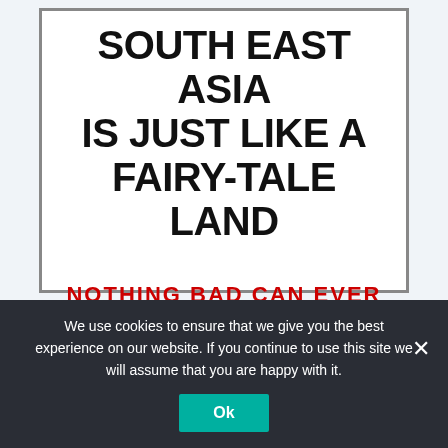[Figure (illustration): Book cover or poster with bold text on white background with border reading 'SOUTH EAST ASIA IS JUST LIKE A FAIRY-TALE LAND' in black and 'NOTHING BAD CAN EVER HAPPEN THERE' in red uppercase letters]
We use cookies to ensure that we give you the best experience on our website. If you continue to use this site we will assume that you are happy with it.
Ok